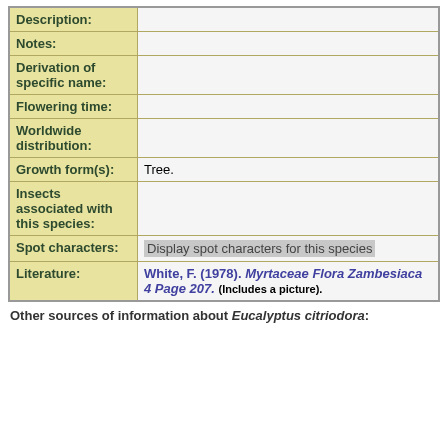| Field | Value |
| --- | --- |
| Description: |  |
| Notes: |  |
| Derivation of specific name: |  |
| Flowering time: |  |
| Worldwide distribution: |  |
| Growth form(s): | Tree. |
| Insects associated with this species: |  |
| Spot characters: | Display spot characters for this species |
| Literature: | White, F. (1978). Myrtaceae Flora Zambesiaca 4 Page 207. (Includes a picture). |
Other sources of information about Eucalyptus citriodora: